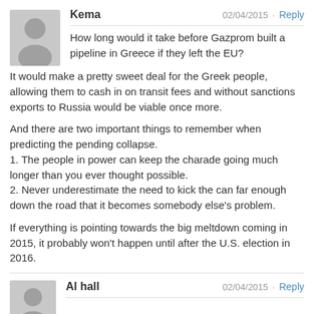Kema — 02/04/2015 · Reply
How long would it take before Gazprom built a pipeline in Greece if they left the EU? It would make a pretty sweet deal for the Greek people, allowing them to cash in on transit fees and without sanctions exports to Russia would be viable once more.

And there are two important things to remember when predicting the pending collapse.
1. The people in power can keep the charade going much longer than you ever thought possible.
2. Never underestimate the need to kick the can far enough down the road that it becomes somebody else's problem.

If everything is pointing towards the big meltdown coming in 2015, it probably won't happen until after the U.S. election in 2016.
Al hall — 02/04/2015 · Reply